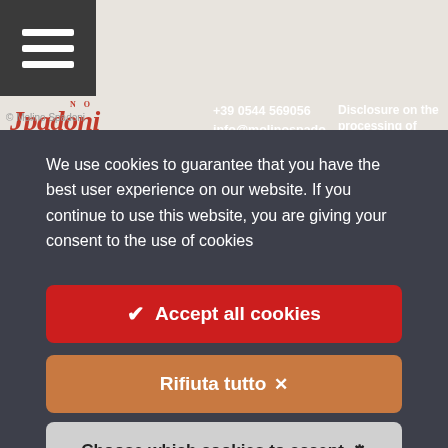[Figure (screenshot): Website header with hamburger menu icon, Molino Spadoni logo, contact phone +39 0544 569056, email info@molinospandoni.it, and Disclosure on the processing of candidates' link]
We use cookies to guarantee that you have the best user experience on our website. If you continue to use this website, you are giving your consent to the use of cookies
✔ Accept all cookies
Rifiuta tutto ✕
Choose which cookies to accept ⚙